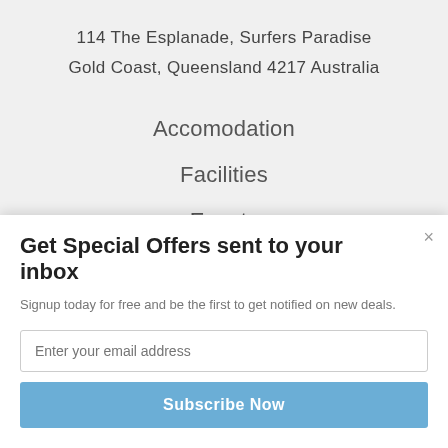114 The Esplanade, Surfers Paradise
Gold Coast, Queensland 4217 Australia
Accomodation
Facilities
Events
Things To Do
Gallery
Get Special Offers sent to your inbox
Signup today for free and be the first to get notified on new deals.
Enter your email address
Subscribe Now